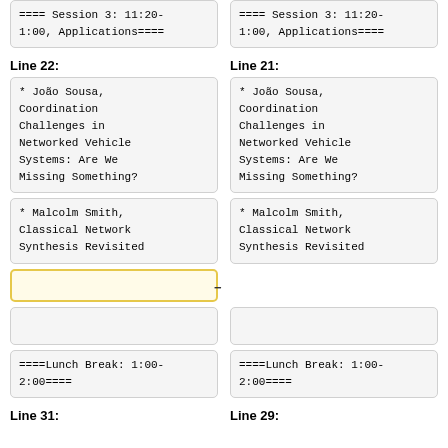==== Session 3: 11:20-1:00, Applications====
==== Session 3: 11:20-1:00, Applications====
Line 22:
Line 21:
* João Sousa, Coordination Challenges in Networked Vehicle Systems: Are We Missing Something?
* João Sousa, Coordination Challenges in Networked Vehicle Systems: Are We Missing Something?
* Malcolm Smith, Classical Network Synthesis Revisited
* Malcolm Smith, Classical Network Synthesis Revisited
====Lunch Break: 1:00-2:00====
====Lunch Break: 1:00-2:00====
Line 31:
Line 29: